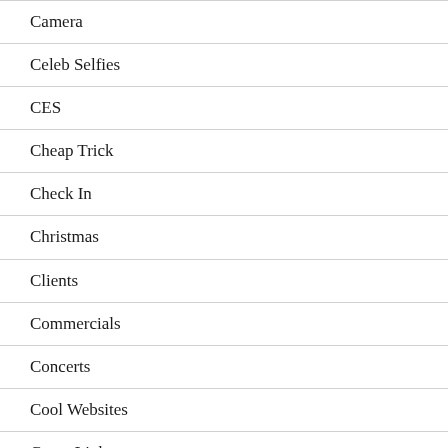Camera
Celeb Selfies
CES
Cheap Trick
Check In
Christmas
Clients
Commercials
Concerts
Cool Websites
Coors Light